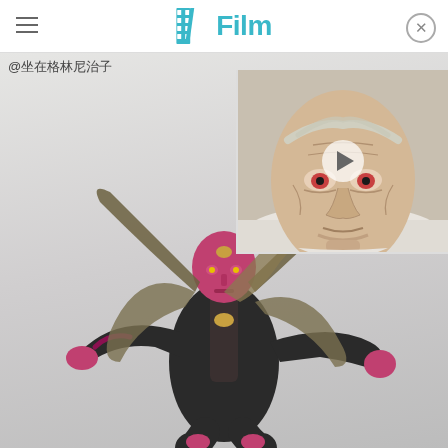/Film
@坐在格林尼治子
[Figure (screenshot): Screenshot of /Film website showing a Marvel Vision character concept art (red-faced android superhero in dark suit with cape, flying pose) as the main image, with a video thumbnail overlay in the top-right corner showing an elderly man's face with reddish eyes lying in bed, with a play button.]